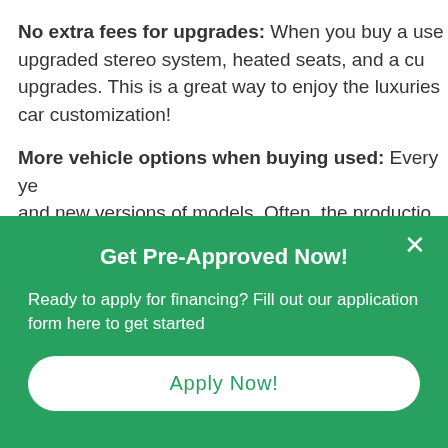No extra fees for upgrades: When you buy a used upgraded stereo system, heated seats, and a cu upgrades. This is a great way to enjoy the luxuries car customization!
More vehicle options when buying used: Every ye and new versions of models. Often, the productio great vehicles. When you buy used you're not lim
Get Pre-Approved Now!
Ready to apply for financing? Fill out our application form here to get started
Apply Now!